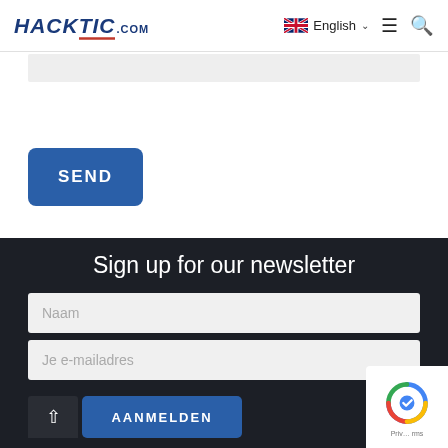HACKTIC.com | English | menu | search
[Figure (screenshot): Gray content bar placeholder]
SEND
Sign up for our newsletter
Naam
Je e-mailadres
AANMELDEN